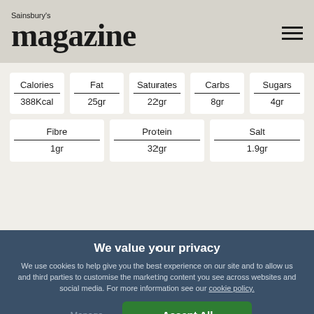Sainsbury's magazine
| Calories | Fat | Saturates | Carbs | Sugars |
| --- | --- | --- | --- | --- |
| 388Kcal | 25gr | 22gr | 8gr | 4gr |
| Fibre | Protein | Salt |  |  |
| 1gr | 32gr | 1.9gr |  |  |
We value your privacy
We use cookies to help give you the best experience on our site and to allow us and third parties to customise the marketing content you see across websites and social media. For more information see our cookie policy.
Manage Preferences
Accept All Cookies